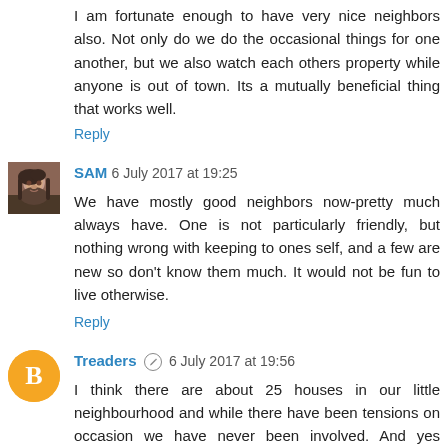I am fortunate enough to have very nice neighbors also. Not only do we do the occasional things for one another, but we also watch each others property while anyone is out of town. Its a mutually beneficial thing that works well.
Reply
SAM 6 July 2017 at 19:25
We have mostly good neighbors now-pretty much always have. One is not particularly friendly, but nothing wrong with keeping to ones self, and a few are new so don't know them much. It would not be fun to live otherwise.
Reply
Treaders 6 July 2017 at 19:56
I think there are about 25 houses in our little neighbourhood and while there have been tensions on occasion we have never been involved. And yes everyone has the right to keep themselves to themselves, but as you